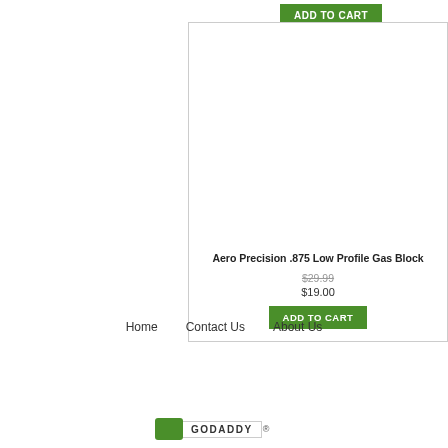[Figure (other): Add to Cart button at top of page, green background with white uppercase text]
[Figure (other): Product listing card for Aero Precision .875 Low Profile Gas Block with image area, original price $29.99 struck through, sale price $19.00, and green Add to Cart button]
Aero Precision .875 Low Profile Gas Block
$29.99
$19.00
Home   Contact Us   About Us
[Figure (logo): GoDaddy badge/logo at bottom]